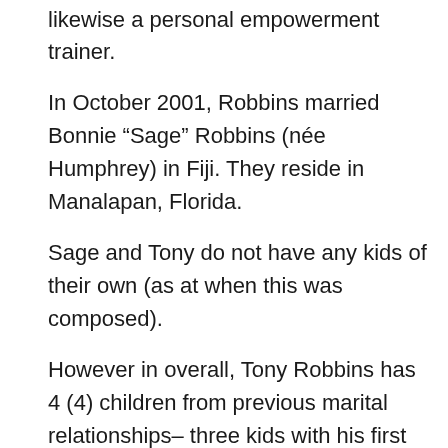likewise a personal empowerment trainer.
In October 2001, Robbins married Bonnie “Sage” Robbins (née Humphrey) in Fiji. They reside in Manalapan, Florida.
Sage and Tony do not have any kids of their own (as at when this was composed).
However in overall, Tony Robbins has 4 (4) children from previous marital relationships– three kids with his first partner and the last child with his former girlfriend.
Tony Robbins Books